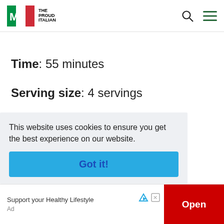The Proud Italian
Time: 55 minutes
Serving size: 4 servings
This website uses cookies to ensure you get the best experience on our website.
Got it!
Support your Healthy Lifestyle
Open
Ad